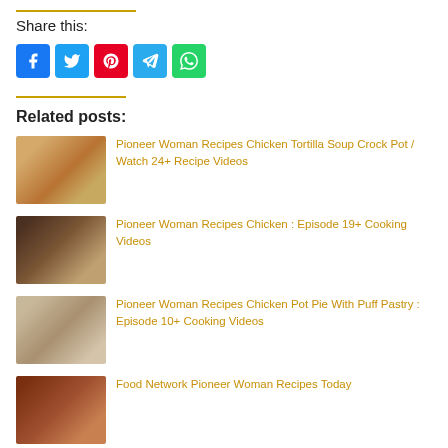Share this:
[Figure (infographic): Social share buttons: Facebook (blue), Twitter (light blue), Pinterest (red), Telegram (blue), WhatsApp (green)]
Related posts:
Pioneer Woman Recipes Chicken Tortilla Soup Crock Pot / Watch 24+ Recipe Videos
Pioneer Woman Recipes Chicken : Episode 19+ Cooking Videos
Pioneer Woman Recipes Chicken Pot Pie With Puff Pastry : Episode 10+ Cooking Videos
Food Network Pioneer Woman Recipes Today